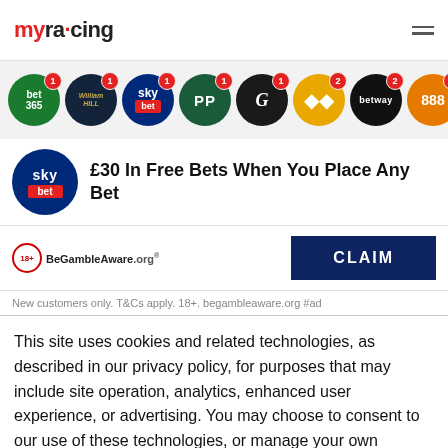[Figure (logo): myracing logo in red and black]
[Figure (illustration): Row of bookmaker icons: bet365, William Hill, Sky Bet, PP, Betson, Betfair, Betway, 888 — each in a circle with red badge numbers]
£30 In Free Bets When You Place Any Bet
[Figure (logo): BeGambleAware.org logo]
CLAIM
New customers only. T&Cs apply. 18+. begambleaware.org #ad
This site uses cookies and related technologies, as described in our privacy policy, for purposes that may include site operation, analytics, enhanced user experience, or advertising. You may choose to consent to our use of these technologies, or manage your own preferences.
Manage Settings
Accept
Decline All